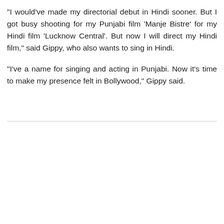"I would've made my directorial debut in Hindi sooner. But I got busy shooting for my Punjabi film 'Manje Bistre' for my Hindi film 'Lucknow Central'. But now I will direct my Hindi film," said Gippy, who also wants to sing in Hindi.
"I've a name for singing and acting in Punjabi. Now it's time to make my presence felt in Bollywood," Gippy said.